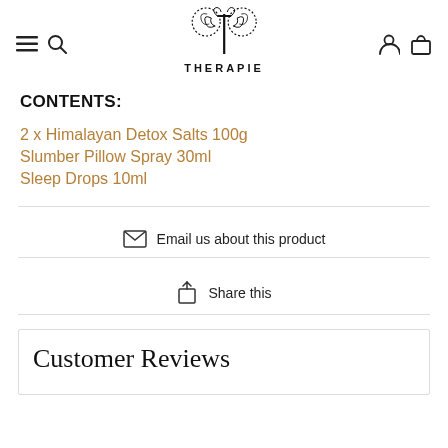THERAPIE — website header with logo, navigation icons
CONTENTS:
2 x Himalayan Detox Salts 100g
Slumber Pillow Spray 30ml
Sleep Drops 10ml
Email us about this product
Share this
Customer Reviews